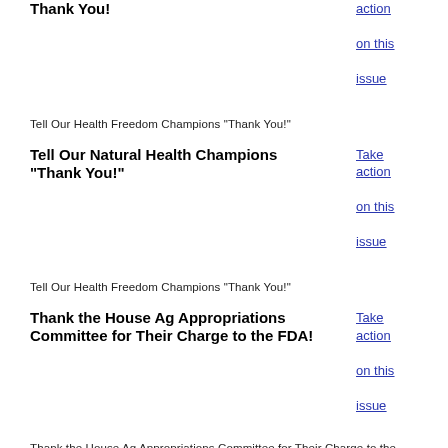Thank You!
Take action on this issue
Tell Our Health Freedom Champions "Thank You!"
Tell Our Natural Health Champions "Thank You!"
Take action on this issue
Tell Our Health Freedom Champions "Thank You!"
Thank the House Ag Appropriations Committee for Their Charge to the FDA!
Take action on this issue
Thank the House Ag Appropriations Committee for Their Charge to the FDA!
Thank the Senators Who Supported the GMO Labeling Amendment!
Take action on this issue